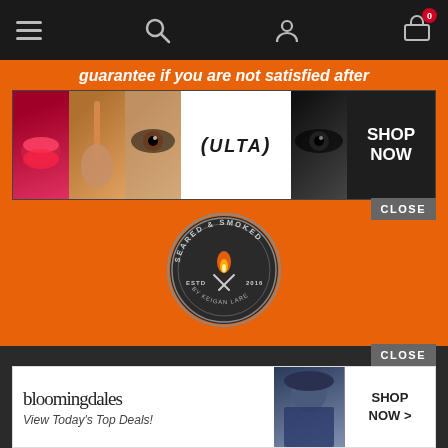[Figure (screenshot): Website navigation bar with hamburger menu, search icon, user icon, and shopping cart with badge showing 0]
guarantee if you are not satisfied after
[Figure (screenshot): Ulta Beauty advertisement banner showing makeup photos, Ulta logo, and SHOP NOW button with CLOSE button]
[Figure (logo): Seared & Smoked circular badge logo with flame and crossed utensils, ESTD 2016 BY KEIGAN LARE]
[Figure (screenshot): Social media icons row: Facebook, Pinterest, Instagram, YouTube on dark background]
[Figure (screenshot): Bloomingdales advertisement with logo, View Today's Top Deals text, model photo, and SHOP NOW button with CLOSE button]